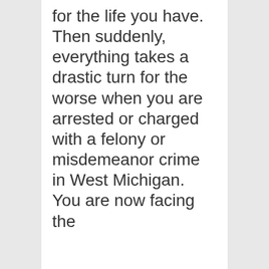for the life you have. Then suddenly, everything takes a drastic turn for the worse when you are arrested or charged with a felony or misdemeanor crime in West Michigan. You are now facing the